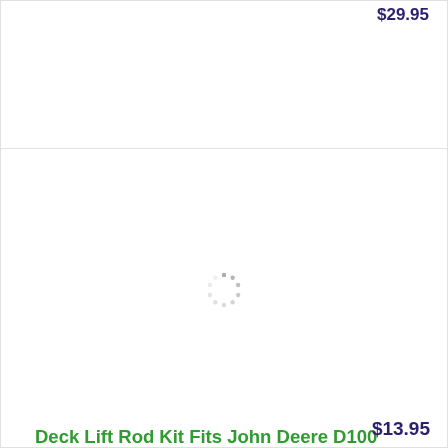$29.95
[Figure (screenshot): Loading spinner (circular dashed spinner icon) indicating an image is loading for a product listing]
Deck Lift Rod Kit Fits John Deere D100 D105 D110...
$13.95